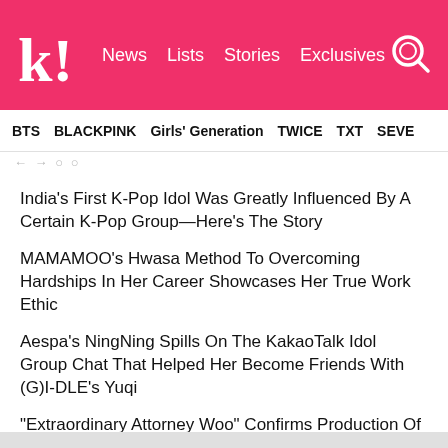koreaboo | News  Lists  Stories  Exclusives
BTS   BLACKPINK   Girls' Generation   TWICE   TXT   SEVE
India's First K-Pop Idol Was Greatly Influenced By A Certain K-Pop Group—Here's The Story
MAMAMOO's Hwasa Method To Overcoming Hardships In Her Career Showcases Her True Work Ethic
Aespa's NingNing Spills On The KakaoTalk Idol Group Chat That Helped Her Become Friends With (G)I-DLE's Yuqi
"Extraordinary Attorney Woo" Confirms Production Of Season 2
WINNER's Kang Seungyoon Spotted With Rumored Girlfriend, YG Entertainment Actress Moon Ji Hyo